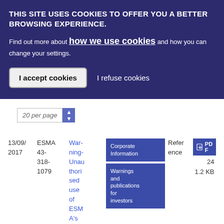THIS SITE USES COOKIES TO OFFER YOU A BETTER BROWSING EXPERIENCE.
Find out more about how we use cookies and how you can change your settings.
I accept cookies | I refuse cookies
20 per page
13/09/2017
ESMA 43-318-1079
Warning-Unauthorised use of ESMA's iden
Corporate Information
Reference
Warnings and publications for investors
PDF
24
1.2 KB